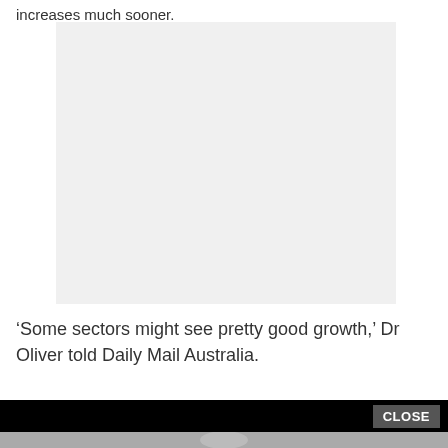increases much sooner.
[Figure (other): Grey advertisement placeholder box]
‘Some sectors might see pretty good growth,’ Dr Oliver told Daily Mail Australia.
[Figure (screenshot): Video player bar with CLOSE button and person visible below]